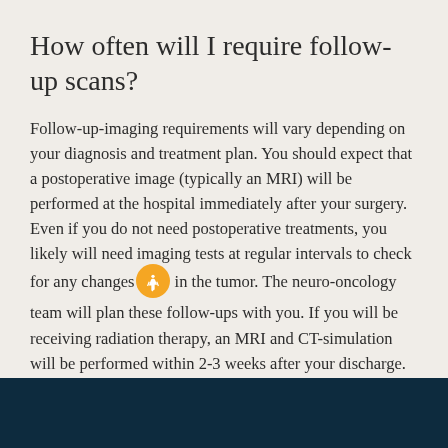How often will I require follow-up scans?
Follow-up-imaging requirements will vary depending on your diagnosis and treatment plan. You should expect that a postoperative image (typically an MRI) will be performed at the hospital immediately after your surgery. Even if you do not need postoperative treatments, you likely will need imaging tests at regular intervals to check for any changes in the tumor. The neuro-oncology team will plan these follow-ups with you. If you will be receiving radiation therapy, an MRI and CT-simulation will be performed within 2-3 weeks after your discharge. Your physician will order images at regular intervals to validate the treatment effectiveness and to check for any tumor progression.